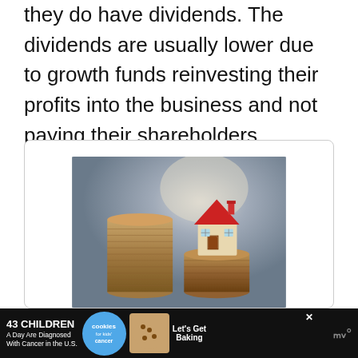they do have dividends. The dividends are usually lower due to growth funds reinvesting their profits into the business and not paying their shareholders dividends. That is something to consider.
[Figure (photo): A miniature toy house with a red roof sitting on top of stacked coins, with a blurred gray background. Represents real estate investment or property finance.]
43 CHILDREN A Day Are Diagnosed With Cancer in the U.S. | cookies for kids' cancer | Let's Get Baking